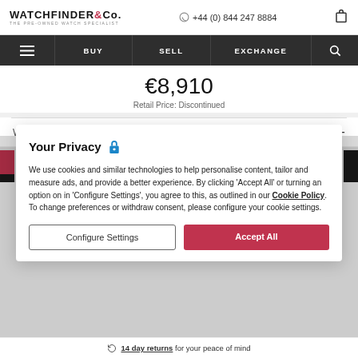WATCHFINDER & Co. THE PRE-OWNED WATCH SPECIALIST | +44 (0) 844 247 8884
BUY | SELL | EXCHANGE
€8,910
Retail Price: Discontinued
Watch Summary +
Your Privacy 🔒
We use cookies and similar technologies to help personalise content, tailor and measure ads, and provide a better experience. By clicking 'Accept All' or turning an option on in 'Configure Settings', you agree to this, as outlined in our Cookie Policy. To change preferences or withdraw consent, please configure your cookie settings.
Configure Settings
Accept All
14 day returns for your peace of mind